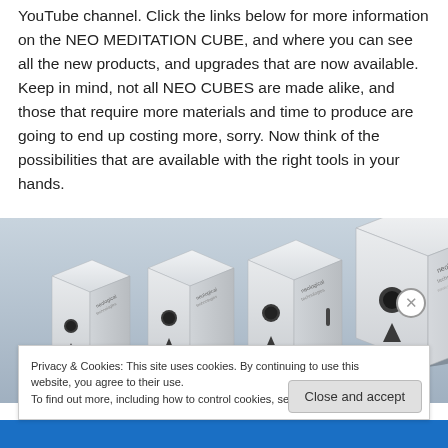YouTube channel.  Click the links below for more information on the NEO MEDITATION CUBE, and where you can see all the new products, and upgrades that are now available.  Keep in mind, not all NEO CUBES are made alike, and those that require more materials and time to produce are going to end up costing more, sorry.  Now think of the possibilities that are available with the right tools in your hands.
[Figure (photo): Multiple white NEO MEDITATION CUBE devices (small white cube-shaped electronic devices with Neological Technologies branding) arranged in a row, photographed from the front at a slight angle, showing different sizes or models.]
Privacy & Cookies: This site uses cookies. By continuing to use this website, you agree to their use.
To find out more, including how to control cookies, see here: Cookie Policy